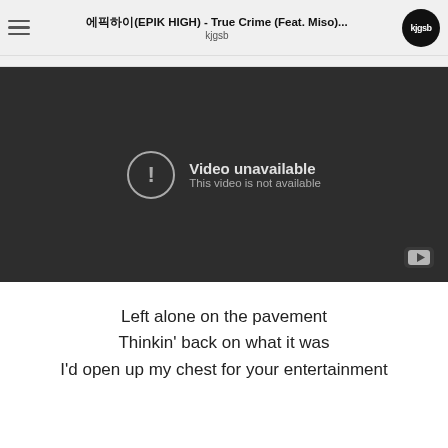에픽하이(EPIK HIGH) - True Crime (Feat. Miso)... kjgsb
[Figure (screenshot): Embedded YouTube video player showing 'Video unavailable - This video is not available' error message on a dark background, with YouTube logo icon in bottom right corner.]
Left alone on the pavement
Thinkin' back on what it was
I'd open up my chest for your entertainment